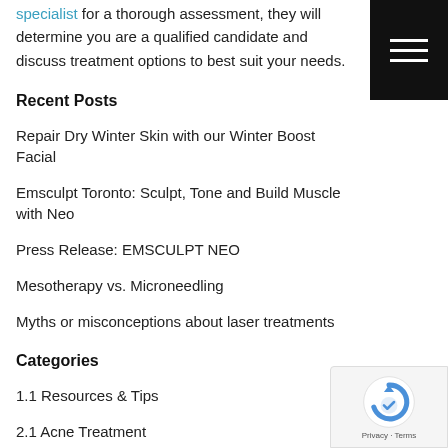specialist for a thorough assessment, they will determine you are a qualified candidate and discuss treatment options to best suit your needs.
Recent Posts
Repair Dry Winter Skin with our Winter Boost Facial
Emsculpt Toronto: Sculpt, Tone and Build Muscle with Neo
Press Release: EMSCULPT NEO
Mesotherapy vs. Microneedling
Myths or misconceptions about laser treatments
Categories
1.1 Resources & Tips
2.1 Acne Treatment
2.2 Scar Treatment